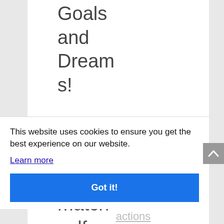Goals and Dreams!
When you match self-
This website uses cookies to ensure you get the best experience on our website.
Learn more
Got it!
actions